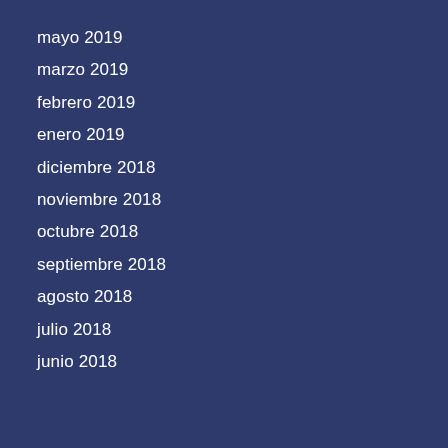mayo 2019
marzo 2019
febrero 2019
enero 2019
diciembre 2018
noviembre 2018
octubre 2018
septiembre 2018
agosto 2018
julio 2018
junio 2018